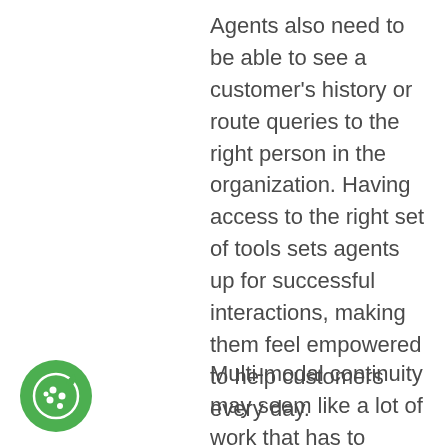Agents also need to be able to see a customer's history or route queries to the right person in the organization. Having access to the right set of tools sets agents up for successful interactions, making them feel empowered to help customers every day.
Multi-modal continuity may seem like a lot of work that has to happen behind the scenes, but with the right call center technology it can
[Figure (illustration): A green circular icon with a cookie/biscuit symbol in white, located in the bottom-left corner of the page.]